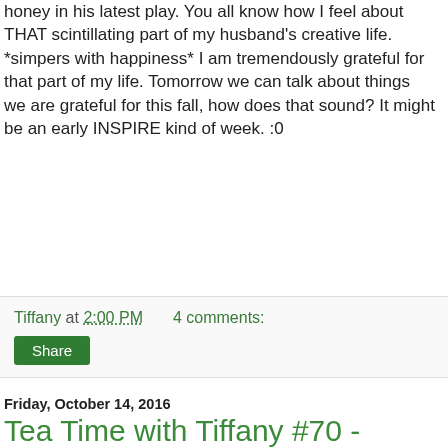honey in his latest play. You all know how I feel about THAT scintillating part of my husband's creative life. *simpers with happiness* I am tremendously grateful for that part of my life. Tomorrow we can talk about things we are grateful for this fall, how does that sound? It might be an early INSPIRE kind of week. :0
Tiffany at 2:00 PM    4 comments:
Share
Friday, October 14, 2016
Tea Time with Tiffany #70 - Worries & 54 day rosary novenas...
Wow. We're on episode *70*. That's hard to believe, yes?!
[Figure (photo): Tea Time with Tiffany - Life of a Catholic Librarian banner image with tea smoke]